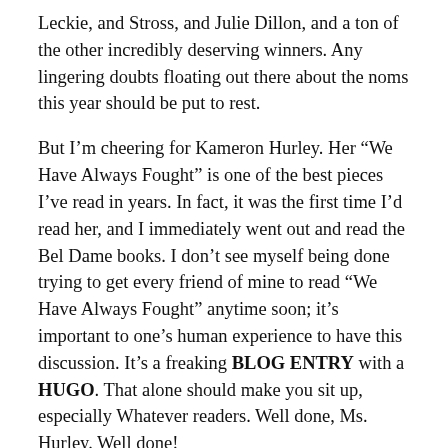Leckie, and Stross, and Julie Dillon, and a ton of the other incredibly deserving winners. Any lingering doubts floating out there about the noms this year should be put to rest.
But I'm cheering for Kameron Hurley. Her “We Have Always Fought” is one of the best pieces I’ve read in years. In fact, it was the first time I’d read her, and I immediately went out and read the Bel Dame books. I don’t see myself being done trying to get every friend of mine to read “We Have Always Fought” anytime soon; it’s important to one’s human experience to have this discussion. It’s a freaking BLOG ENTRY with a HUGO. That alone should make you sit up, especially Whatever readers. Well done, Ms. Hurley. Well done!